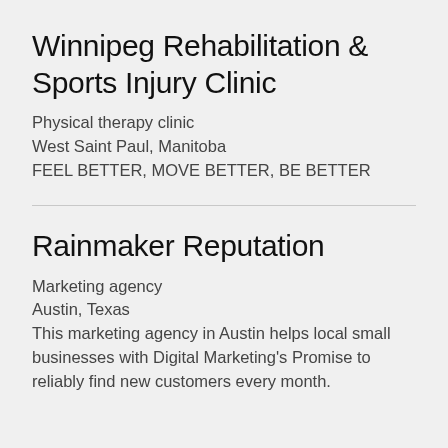Winnipeg Rehabilitation & Sports Injury Clinic
Physical therapy clinic
West Saint Paul, Manitoba
FEEL BETTER, MOVE BETTER, BE BETTER
Rainmaker Reputation
Marketing agency
Austin, Texas
This marketing agency in Austin helps local small businesses with Digital Marketing's Promise to reliably find new customers every month.